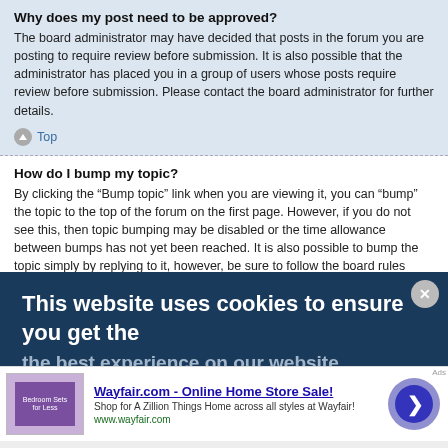Why does my post need to be approved?
The board administrator may have decided that posts in the forum you are posting to require review before submission. It is also possible that the administrator has placed you in a group of users whose posts require review before submission. Please contact the board administrator for further details.
Top
How do I bump my topic?
By clicking the “Bump topic” link when you are viewing it, you can “bump” the topic to the top of the forum on the first page. However, if you do not see this, then topic bumping may be disabled or the time allowance between bumps has not yet been reached. It is also possible to bump the topic simply by replying to it, however, be sure to follow the board rules when doing so.
This website uses cookies to ensure you get the
[Figure (screenshot): Wayfair.com advertisement banner with bedroom furniture image, ad title, description and navigation arrow]
Wayfair.com - Online Home Store Sale!
Shop for A Zillion Things Home across all styles at Wayfair!
www.wayfair.com